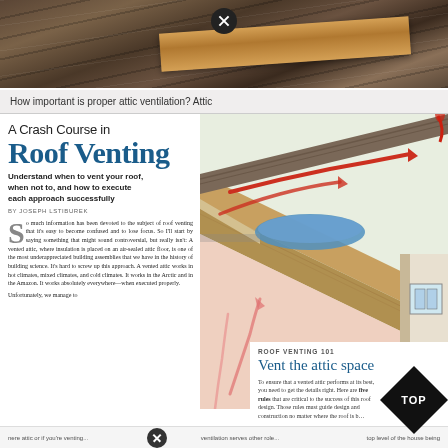[Figure (photo): Close-up photo of roof shingles with wooden framing visible underneath, showing gap or vent area]
How important is proper attic ventilation? Attic
A Crash Course in Roof Venting
Understand when to vent your roof, when not to, and how to execute each approach successfully
BY JOSEPH LSTIBUREK
So much information has been devoted to the subject of roof venting that it's easy to become confused and to lose focus. So I'll start by saying something that might sound controversial, but really isn't: A vented attic, where insulation is placed on an air-sealed attic floor, is one of the most underappreciated building assemblies that we have in the history of building science. It's hard to screw up this approach. A vented attic works in hot climates, mixed climates, and cold climates. It works in the Arctic and in the Amazon. It works absolutely everywhere—when executed properly. Unfortunately, we manage to
[Figure (illustration): Architectural cross-section illustration of a roof and attic space showing airflow with red arrows indicating air movement, blue insulation, pink/red areas, and ventilation components]
ROOF VENTING 101
Vent the attic space
To ensure that a vented attic performs at its best, you need to get the details right. Here are five rules that are critical to the success of this roof design. Those rules must guide design and construction no matter where the roof is b…
nere attic or if you're venting... ventilation serves other role... top level of the house being
[Figure (other): Black diamond TOP badge/label in bottom right corner]